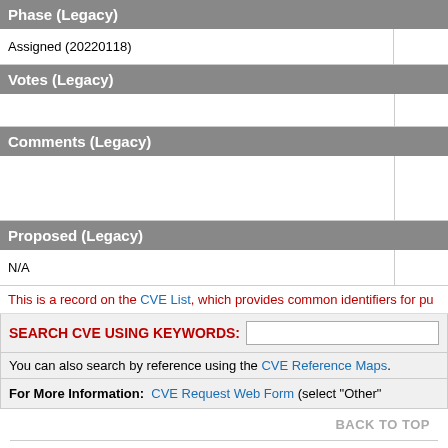| Phase (Legacy) |  |
| --- | --- |
| Assigned (20220118) |  |
| Votes (Legacy) |  |
| --- | --- |
|  |  |
| Comments (Legacy) |  |
| --- | --- |
|  |  |
| Proposed (Legacy) |  |
| --- | --- |
| N/A |  |
This is a record on the CVE List, which provides common identifiers for pu
SEARCH CVE USING KEYWORDS:
You can also search by reference using the CVE Reference Maps.
For More Information: CVE Request Web Form (select "Other"
BACK TO TOP
Site Map | Terms of Use | Privacy Policy | Contact Us | Follow CVE
Use of the CVE® List and the associated references from this website are subject to the terms of use. CVE is sponsored by the U.S. Department of Homeland